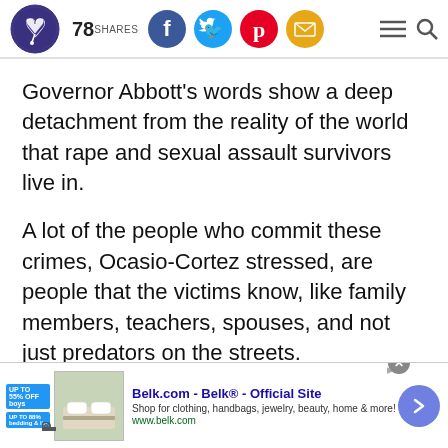78 SHARES [social icons: Facebook, Twitter, Pinterest, Email] [hamburger menu] [search]
Governor Abbott’s words show a deep detachment from the reality of the world that rape and sexual assault survivors live in.
A lot of the people who commit these crimes, Ocasio-Cortez stressed, are people that the victims know, like family members, teachers, spouses, and not just predators on the streets.
[Figure (screenshot): Advertisement banner: Belk.com - Belk® - Official Site. Shop for clothing, handbags, jewelry, beauty, home & more! www.belk.com]